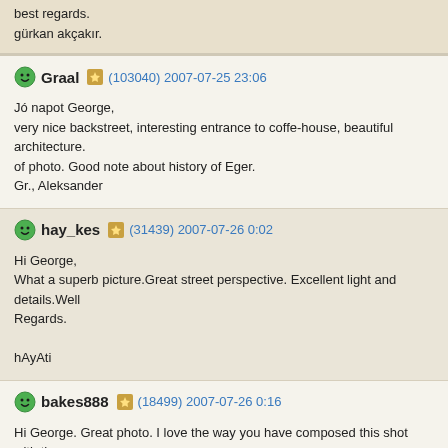best regards.
gürkan akçakır.
Graal (103040) 2007-07-25 23:06
Jó napot George,
very nice backstreet, interesting entrance to coffe-house, beautiful architecture. of photo. Good note about history of Eger.
Gr., Aleksander
hay_kes (31439) 2007-07-26 0:02
Hi George,
What a superb picture.Great street perspective. Excellent light and details.Well
Regards.

hAyAti
bakes888 (18499) 2007-07-26 0:16
Hi George. Great photo. I love the way you have composed this shot with the go road leading the eye though the scene. Good colour and sharpness also. Thank Cheers, Paul.